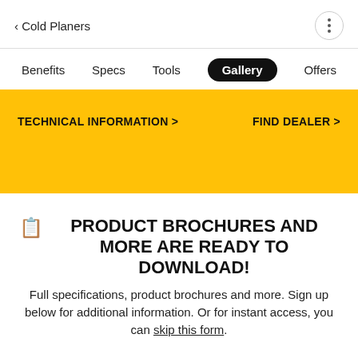< Cold Planers
Benefits  Specs  Tools  Gallery  Offers
TECHNICAL INFORMATION >   FIND DEALER >
PRODUCT BROCHURES AND MORE ARE READY TO DOWNLOAD!
Full specifications, product brochures and more. Sign up below for additional information. Or for instant access, you can skip this form.